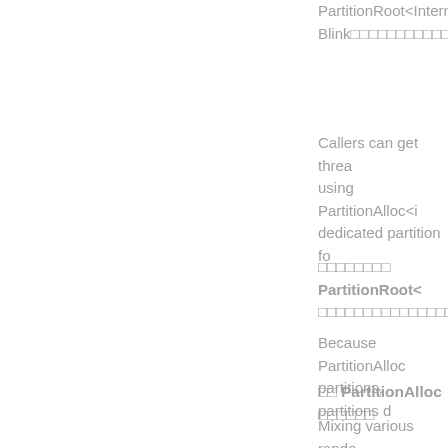PartitionRoot<InternalMemoryBlink
Callers can get threa using PartitionAlloc<i dedicated partition fo
PartitionRoot<
Because PartitionAlloc partitions, partitions d
PartitionAlloc
Mixing various rando group similar objects